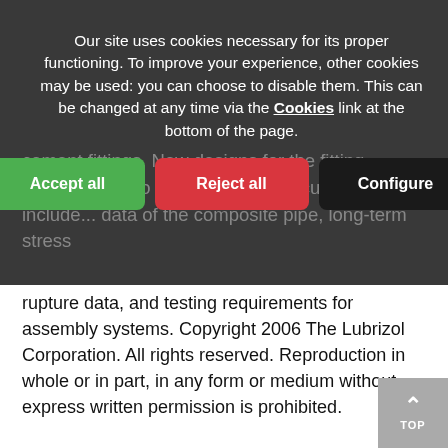Our site uses cookies necessary for its proper functioning. To improve your experience, other cookies may be used: you can choose to disable them. This can be changed at any time via the Cookies link at the bottom of the page.
Accept all | Reject all | Configure
rupture data, and testing requirements for assembly systems. Copyright 2006 The Lubrizol Corporation. All rights reserved. Reproduction in whole or in part, in any form or medium without express written permission is prohibited.